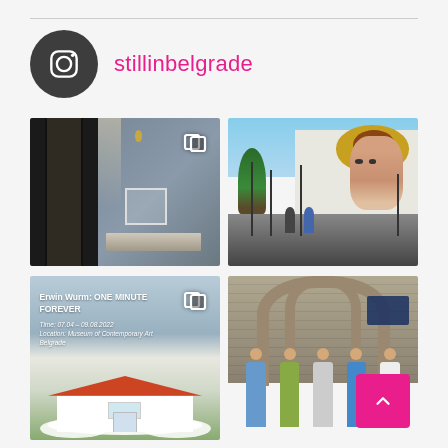[Figure (screenshot): Instagram profile header with circular dark Instagram icon on left and username 'stillinbelgrade' in pink text on right, on light gray background]
[Figure (photo): Two-photo Instagram grid: left image shows museum interior with dark frames, large windows, and modern benches; right image shows a large street mural of a woman's face with golden circle on a building wall, with street and pedestrians below]
[Figure (photo): Two-photo Instagram grid: left image shows Erwin Wurm ONE MINUTE FOREVER exhibition info with white sculptural house with red roof; right image shows a group of tourists posing under stone arches at a historical site]